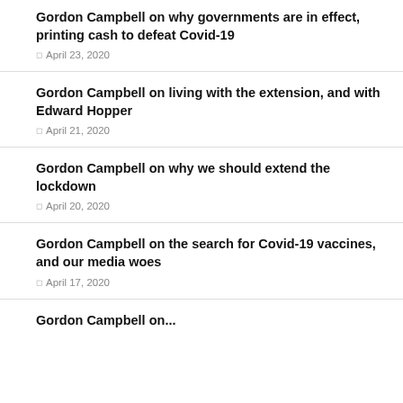Gordon Campbell on why governments are in effect, printing cash to defeat Covid-19
April 23, 2020
Gordon Campbell on living with the extension, and with Edward Hopper
April 21, 2020
Gordon Campbell on why we should extend the lockdown
April 20, 2020
Gordon Campbell on the search for Covid-19 vaccines, and our media woes
April 17, 2020
Gordon Campbell on...